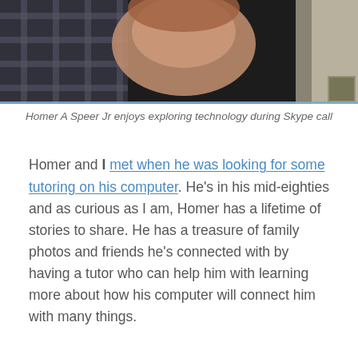[Figure (photo): Close-up photo of an elderly person, likely Homer A Speer Jr, during a Skype call. The image is dark with warm tones showing a face and head.]
Homer A Speer Jr enjoys exploring technology during Skype call
Homer and I met when he was looking for some tutoring on his computer. He’s in his mid-eighties and as curious as I am, Homer has a lifetime of stories to share. He has a treasure of family photos and friends he’s connected with by having a tutor who can help him with learning more about how his computer will connect him with many things.
You know how sometimes life has a way of working in funny little vignettes. When you are doing something you really love with another person who has a passion for sharing their stories and inviting you on their journey? I’ve gotten to walk into the past with Homer and learn some wonderful things.  In the case of my dear friend Homer, the past is lovingly illustrated by stories and those vintage photos. I’ve been lucky enough to be able to help preserve and share his past. And watch as he confidently shows mo